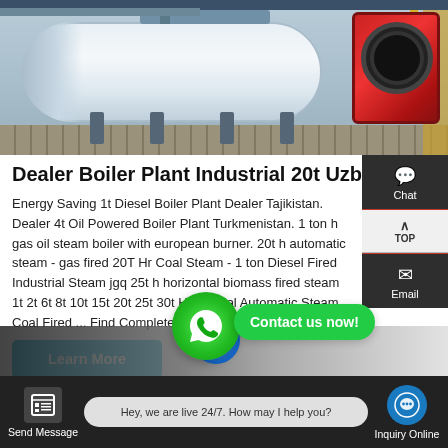[Figure (photo): Industrial boiler plant showing a large horizontal white cylindrical boiler body on legs with a red burner/motor unit on the right side, inside an industrial facility with tiled floor and yellow pipes.]
Dealer Boiler Plant Industrial 20t Uzbekistan
Energy Saving 1t Diesel Boiler Plant Dealer Tajikistan. Dealer 4t Oil Powered Boiler Plant Turkmenistan. 1 ton h gas oil steam boiler with european burner. 20t h automatic steam - gas fired 20T Hr Coal Steam - 1 ton Diesel Fired Industrial Steam jgq 25t h horizontal biomass fired steam 1t 2t 6t 8t 10t 15t 20t 25t 30t Horizontal Automatic Steam Coal Fired ... Find Complete details about 1t 2t ...
[Figure (screenshot): WhatsApp contact button (green circle with phone icon) and Contact us now! green button overlay]
[Figure (screenshot): Bottom bar with Send Message button (dark background with document icon), live chat bubble saying Hey, we are live 24/7. How may I help you?, and Inquiry Online button with blue chat circle icon]